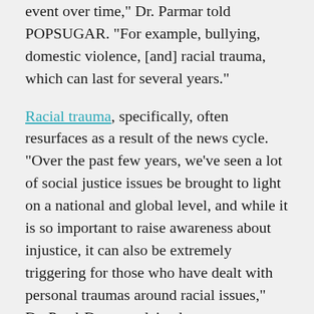event over time," Dr. Parmar told POPSUGAR. "For example, bullying, domestic violence, [and] racial trauma, which can last for several years."
Racial trauma, specifically, often resurfaces as a result of the news cycle. “Over the past few years, we’ve seen a lot of social justice issues be brought to light on a national and global level, and while it is so important to raise awareness about injustice, it can also be extremely triggering for those who have dealt with personal traumas around racial issues,” Dr. Patel-Dunn explained.
These traumas can include anything from racist bullying or violence to the microaggressions that are so often a part of everyday life. “BIPOC individuals who experience microaggressions in their daily lives are at equal risk for mental health triggers,” Dr. Patel-Dunn said.